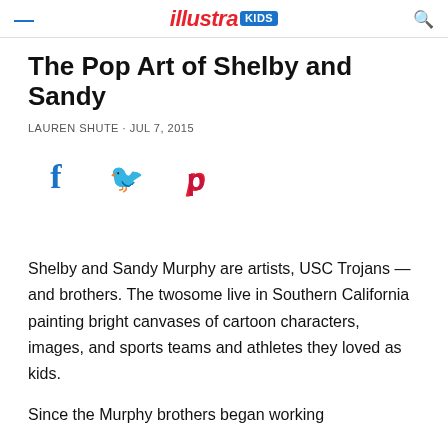Illustra KIDS
The Pop Art of Shelby and Sandy
LAUREN SHUTE · JUL 7, 2015
[Figure (other): Social sharing icons: Facebook (f), Twitter (bird), Pinterest (P)]
Shelby and Sandy Murphy are artists, USC Trojans — and brothers. The twosome live in Southern California painting bright canvases of cartoon characters, images, and sports teams and athletes they loved as kids.
Since the Murphy brothers began working